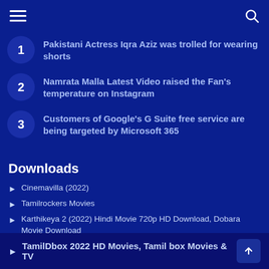Navigation header with hamburger menu and search icon
Pakistani Actress Iqra Aziz was trolled for wearing shorts
Namrata Malla Latest Video raised the Fan's temperature on Instagram
Customers of Google's G Suite free service are being targeted by Microsoft 365
Downloads
Cinemavilla (2022)
Tamilrockers Movies
Karthikeya 2 (2022) Hindi Movie 720p HD Download, Dobara Movie Download
Jalshamovies 2022:- New Bollywood, Hollywood, Movies Download
TamilDbox 2022 HD Movies, Tamil box Movies & TV